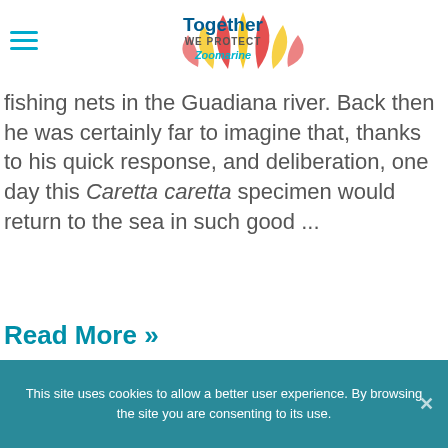[Figure (logo): Zoomarine Together We Protect logo with colorful bird/flame motif]
fishing nets in the Guadiana river. Back then he was certainly far to imagine that, thanks to his quick response, and deliberation, one day this Caretta caretta specimen would return to the sea in such good ...
Read More »
[Figure (photo): Close-up photograph of natural textures, fur and dry vegetation]
This site uses cookies to allow a better user experience. By browsing the site you are consenting to its use.
Social media icons: Facebook, Twitter, LinkedIn, WhatsApp, Email